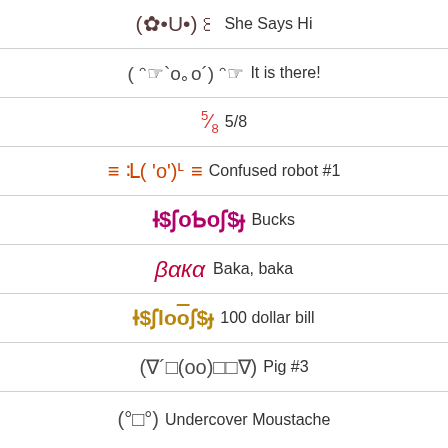(✿•U•)꒰ She Says Hi
( ᵔ☞`O ｡O´) ᵔ☞ It is there!
⁵⁄₈ 5/8
≡ ᒺ( 'o')ᒻ ≡ Confused robot #1
Ɨ$ʃoƄoʃ$ɟ Bucks
βαкα Baka, baka
Ɨ$ʃlo o ʃ$ɟ 100 dollar bill
(∇´□(oo)□□∇) Pig #3
(°□°) Undercover Moustache